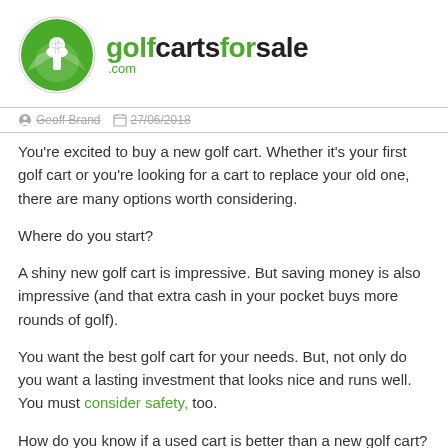[Figure (logo): golfcartsforsale.com logo with green golf tee circle icon and text]
Geoff Brand  27/06/2018
You're excited to buy a new golf cart. Whether it's your first golf cart or you're looking for a cart to replace your old one, there are many options worth considering.
Where do you start?
A shiny new golf cart is impressive. But saving money is also impressive (and that extra cash in your pocket buys more rounds of golf).
You want the best golf cart for your needs. But, not only do you want a lasting investment that looks nice and runs well. You must consider safety, too.
How do you know if a used cart is better than a new golf cart?